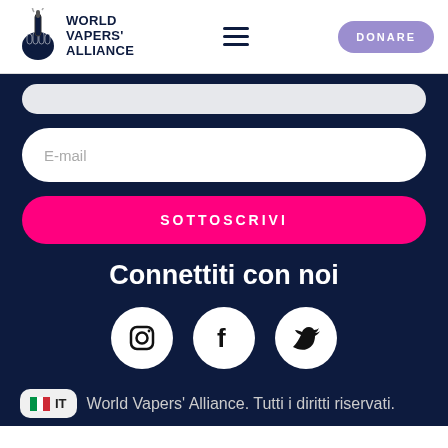[Figure (logo): World Vapers' Alliance logo with hand holding vape pen and bold text]
DONARE
E-mail
SOTTOSCRIVI
Connettiti con noi
[Figure (illustration): Instagram icon white circle]
[Figure (illustration): Facebook icon white circle]
[Figure (illustration): Twitter icon white circle]
IT  World Vapers' Alliance. Tutti i diritti riservati.